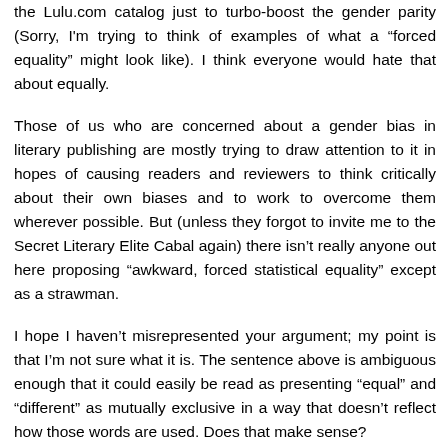the Lulu.com catalog just to turbo-boost the gender parity (Sorry, I'm trying to think of examples of what a “forced equality” might look like). I think everyone would hate that about equally.
Those of us who are concerned about a gender bias in literary publishing are mostly trying to draw attention to it in hopes of causing readers and reviewers to think critically about their own biases and to work to overcome them wherever possible. But (unless they forgot to invite me to the Secret Literary Elite Cabal again) there isn’t really anyone out here proposing “awkward, forced statistical equality” except as a strawman.
I hope I haven’t misrepresented your argument; my point is that I’m not sure what it is. The sentence above is ambiguous enough that it could easily be read as presenting “equal” and “different” as mutually exclusive in a way that doesn’t reflect how those words are used. Does that make sense?
Now I’ve gone and written too much anyway! and Masha, I